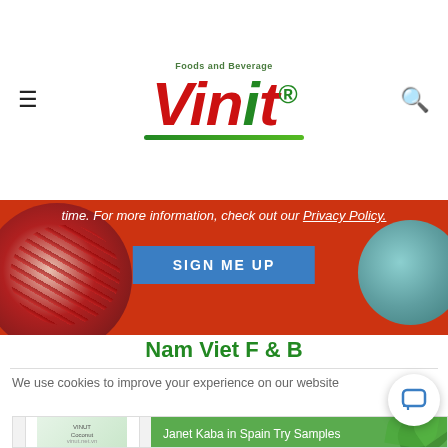Vinut Foods and Beverage logo header with menu and search icons
[Figure (logo): Vinut Foods and Beverage logo with red 'Vinut' text, green italic 'i', green underline arc, and 'Foods and Beverage' tagline above]
time. For more information, check out our Privacy Policy.
[Figure (photo): Red banner background with pomegranate on left and teal fruit on right, SIGN ME UP blue button]
SIGN ME UP
Nam Viet F & B
We use cookies to improve your experience on our website
[Figure (photo): Product card showing 10Kg VINUT Coconut Concentrate with green background. Janet Kaba in Spain Try Samples. About 8 hours ago.]
Janet Kaba in Spain Try Samples
10Kg VINUT Coconut Concentrate
About 8 hours ago